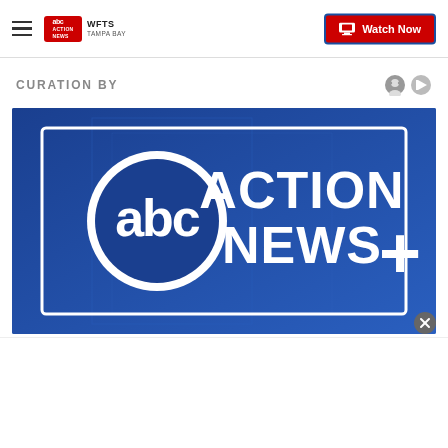WFTS TAMPA BAY | Watch Now
CURATION BY
[Figure (logo): ABC Action News+ logo on blue background with abc circle logo and text ACTION NEWS + in white on dark blue background]